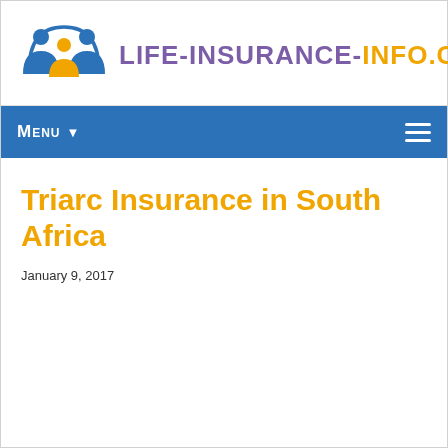[Figure (logo): Life-Insurance-Info.co.za website logo with two stylized human figures under an arch in blue, and a person icon in yellow/gold, with the site name in purple and orange text]
MENU
Triarc Insurance in South Africa
January 9, 2017